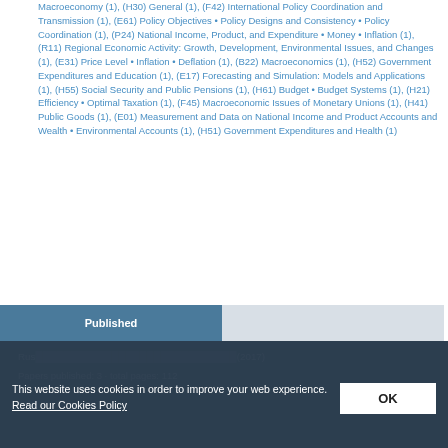Macroeconomy (1), (H30) General (1), (F42) International Policy Coordination and Transmission (1), (E61) Policy Objectives • Policy Designs and Consistency • Policy Coordination (1), (P24) National Income, Product, and Expenditure • Money • Inflation (1), (R11) Regional Economic Activity: Growth, Development, Environmental Issues, and Changes (1), (E31) Price Level • Inflation • Deflation (1), (B22) Macroeconomics (1), (H52) Government Expenditures and Education (1), (E17) Forecasting and Simulation: Models and Applications (1), (H55) Social Security and Public Pensions (1), (H61) Budget • Budget Systems (1), (H21) Efficiency • Optimal Taxation (1), (F45) Macroeconomic Issues of Monetary Unions (1), (H41) Public Goods (1), (E01) Measurement and Data on National Income and Product Accounts and Wealth • Environmental Accounts (1), (H51) Government Expenditures and Health (1)
Published
This website uses cookies in order to improve your web experience. Read our Cookies Policy
Papers published: 3 · total pages: 112